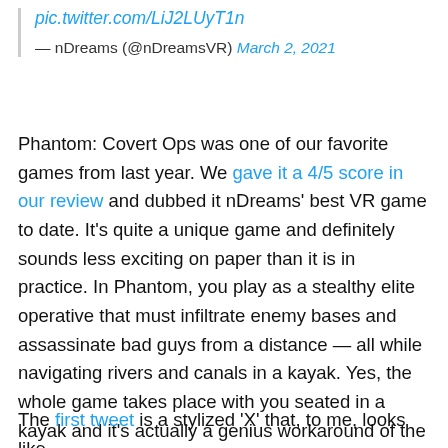pic.twitter.com/LiJ2LUyT1n
— nDreams (@nDreamsVR) March 2, 2021
Phantom: Covert Ops was one of our favorite games from last year. We gave it a 4/5 score in our review and dubbed it nDreams' best VR game to date. It's quite a unique game and definitely sounds less exciting on paper than it is in practice. In Phantom, you play as a stealthy elite operative that must infiltrate enemy bases and assassinate bad guys from a distance — all while navigating rivers and canals in a kayak. Yes, the whole game takes place with you seated in a kayak and it's actually a genius workaround of the VR locomotion vs immersion conundrum.
The first tweet is a stylized 'X' that, to me, looks like